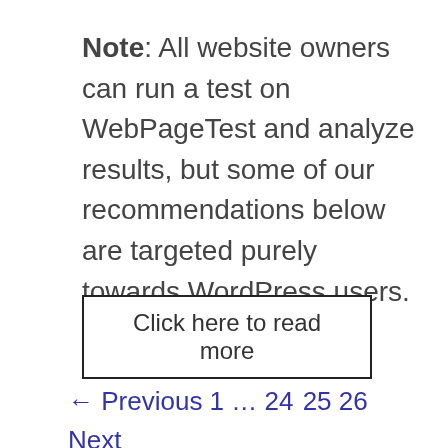Note: All website owners can run a test on WebPageTest and analyze results, but some of our recommendations below are targeted purely towards WordPress users.
Click here to read more
← Previous 1 … 24 25 26 Next →